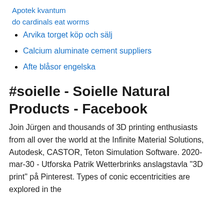Apotek kvantum
do cardinals eat worms
Arvika torget köp och sälj
Calcium aluminate cement suppliers
Afte blåsor engelska
#soielle - Soielle Natural Products - Facebook
Join Jürgen and thousands of 3D printing enthusiasts from all over the world at the Infinite Material Solutions, Autodesk, CASTOR, Teton Simulation Software. 2020-mar-30 - Utforska Patrik Wetterbrinks anslagstavla "3D print" på Pinterest. Types of conic eccentricities are explored in the